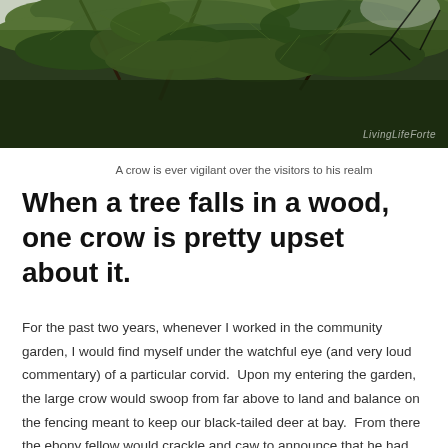[Figure (photo): Close-up photo of pine tree branches with green needles against a light grey sky, with a 'LivingLifeForte' watermark in the bottom right corner]
A crow is ever vigilant over the visitors to his realm
When a tree falls in a wood, one crow is pretty upset about it.
For the past two years, whenever I worked in the community garden, I would find myself under the watchful eye (and very loud commentary) of a particular corvid.  Upon my entering the garden, the large crow would swoop from far above to land and balance on the fencing meant to keep our black-tailed deer at bay.  From there the ebony fellow would crackle and caw to announce that he had me in his sights.  This was followed by clacks and clicks as he short-hopped